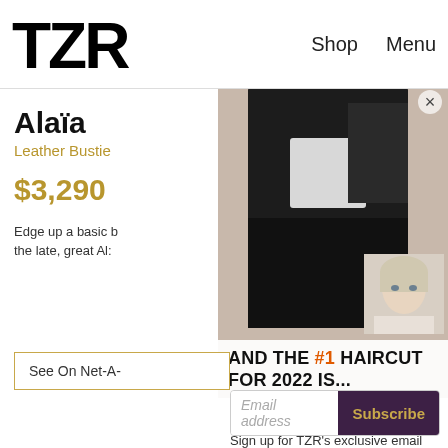TZR  Shop  Menu
[Figure (photo): Fashion photo of a person in a black outfit with a white bag, overlaid with a text box reading 'AND THE #1 HAIRCUT FOR 2022 IS...' and a small portrait of a blonde woman]
Alaïa
Leather Bustie
$3,290
Edge up a basic b the late, great Al:
See On Net-A-
Join The List
Sign up for TZR's exclusive email list to uncover this season's top trends
Email address  Subscribe